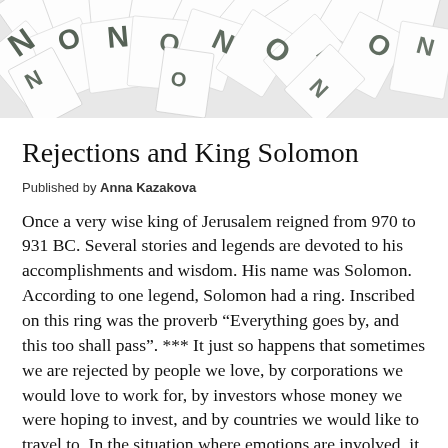[Figure (photo): A top-down view of many scattered papers or tiles with letters/words printed on them in black, forming a collage-style banner image.]
Rejections and King Solomon
Published by Anna Kazakova
Once a very wise king of Jerusalem reigned from 970 to 931 BC. Several stories and legends are devoted to his accomplishments and wisdom. His name was Solomon. According to one legend, Solomon had a ring. Inscribed on this ring was the proverb “Everything goes by, and this too shall pass”. *** It just so happens that sometimes we are rejected by people we love, by corporations we would love to work for, by investors whose money we were hoping to invest, and by countries we would like to travel to. In the situation where emotions are involved, it is sometimes difficult to make appropriate and wise decisions. However there